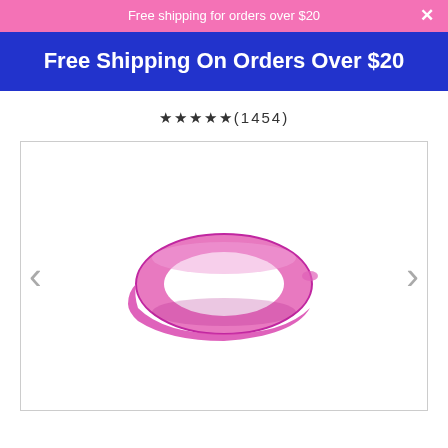Free shipping for orders over $20
Free Shipping On Orders Over $20
★★★★★(1454)
[Figure (photo): Pink silicone wristband/bracelet on white background, with left and right navigation arrows]